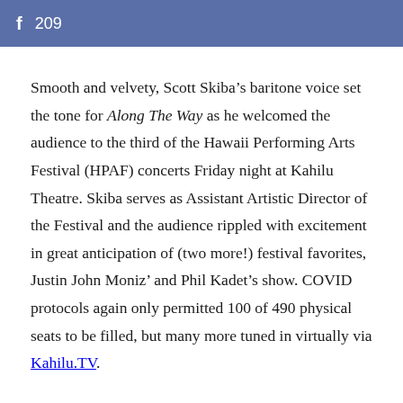f 209
Smooth and velvety, Scott Skiba’s baritone voice set the tone for Along The Way as he welcomed the audience to the third of the Hawaii Performing Arts Festival (HPAF) concerts Friday night at Kahilu Theatre. Skiba serves as Assistant Artistic Director of the Festival and the audience rippled with excitement in great anticipation of (two more!) festival favorites, Justin John Moniz’ and Phil Kadet’s show. COVID protocols again only permitted 100 of 490 physical seats to be filled, but many more tuned in virtually via Kahilu.TV.